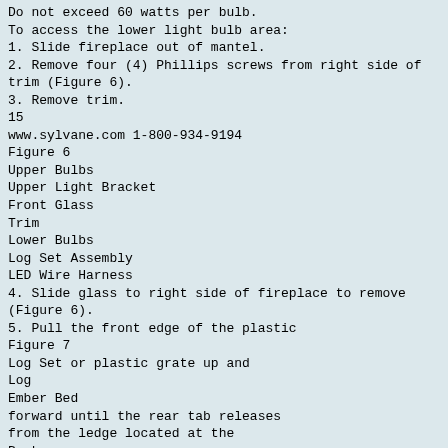Do not exceed 60 watts per bulb.
To access the lower light bulb area:
1. Slide fireplace out of mantel.
2. Remove four (4) Phillips screws from right side of trim (Figure 6).
3. Remove trim.
15
www.sylvane.com 1-800-934-9194
Figure 6
Upper Bulbs
Upper Light Bracket
Front Glass
Trim
Lower Bulbs
Log Set Assembly
LED Wire Harness
4. Slide glass to right side of fireplace to remove (Figure 6).
5. Pull the front edge of the plastic
Figure 7
Log Set or plastic grate up and
Log
Ember Bed
forward until the rear tab releases from the ledge located at the
Back
bottom of the mirror (Figure 7).
Ledge
! IMPORTANT: Only handle the Log Set Assembly by the Ember Bed or plastic grate.
! NOTE: Log Set Assembly fits
Rear